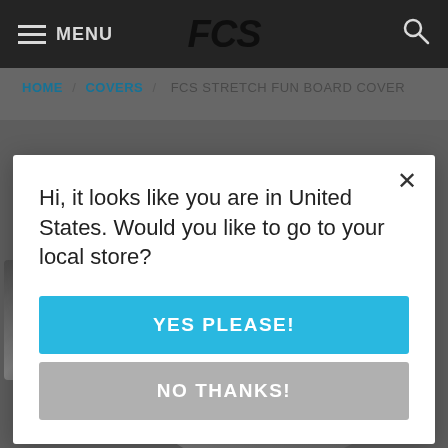MENU | FCS | [search icon]
HOME / COVERS / FCS STRETCH FUN BOARD COVER
[Figure (screenshot): Product page background showing surfboard cover images in a dark gray layout with thumbnail strip on the left side]
Hi, it looks like you are in United States. Would you like to go to your local store?
YES PLEASE!
NO THANKS!